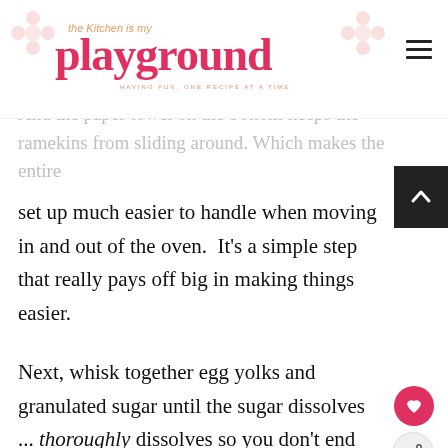the Kitchen is my playground — HAVING FUN, ONE RECIPE AT A TIME
And the paper towel on the bottom keeps the ramekins from sliding around. Which makes the entire set up much easier to handle when moving in and out of the oven. It's a simple step that really pays off big in making things easier.
Next, whisk together egg yolks and granulated sugar until the sugar dissolves ... thoroughly dissolves so you don't end up with grainy custard ...
[Figure (photo): Black and white striped image strip (food/dessert photo)]
[Figure (screenshot): Alzheimer's Association advertisement: It's time to talk about Alzheimer's. Learn More button.]